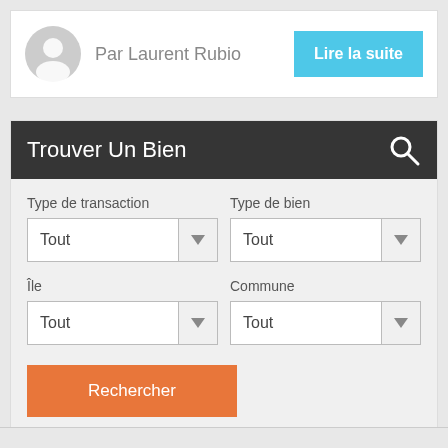Par Laurent Rubio
Lire la suite
Trouver Un Bien
Type de transaction
Tout
Type de bien
Tout
Île
Tout
Commune
Tout
Rechercher